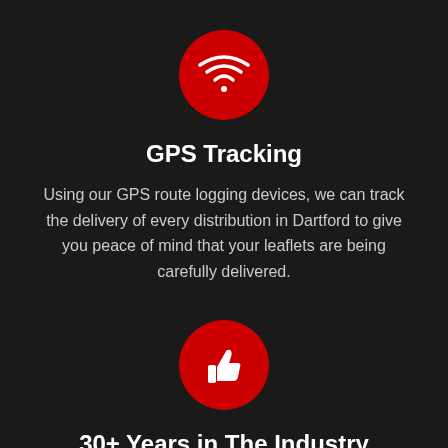[Figure (illustration): Red circle with white WiFi/GPS signal icon]
GPS Tracking
Using our GPS route logging devices, we can track the delivery of every distribution in Dartford to give you peace of mind that your leaflets are being carefully delivered.
[Figure (illustration): Red circle with white thumbs up icon]
30+ Years in The Industry